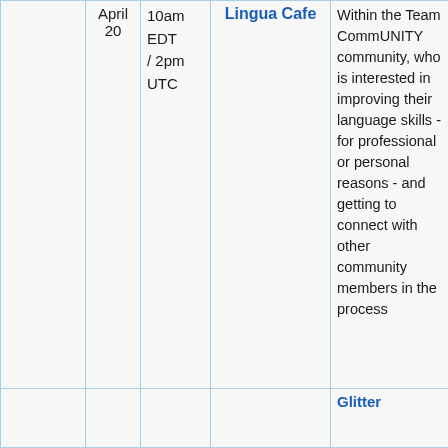|  | Date | Time | Event | Description |
| --- | --- | --- | --- | --- |
|  | April 20 | 10am EDT / 2pm UTC | Lingua Cafe | Within the Team CommUNITY community, who is interested in improving their language skills - for professional or personal reasons - and getting to connect with other community members in the process |
|  |  |  |  | Glitter |